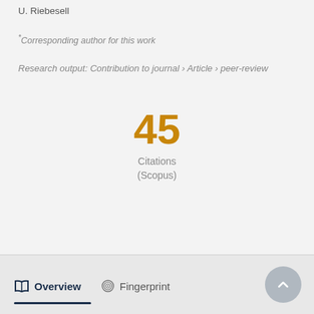U. Riebesell
*Corresponding author for this work
Research output: Contribution to journal › Article › peer-review
45 Citations (Scopus)
Overview   Fingerprint